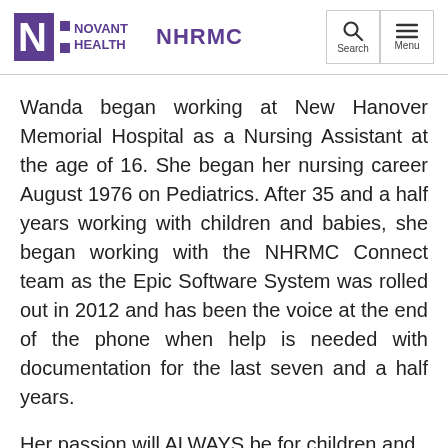Novant Health NHRMC
Wanda began working at New Hanover Memorial Hospital as a Nursing Assistant at the age of 16. She began her nursing career August 1976 on Pediatrics. After 35 and a half years working with children and babies, she began working with the NHRMC Connect team as the Epic Software System was rolled out in 2012 and has been the voice at the end of the phone when help is needed with documentation for the last seven and a half years.
Her passion will ALWAYS be for children and